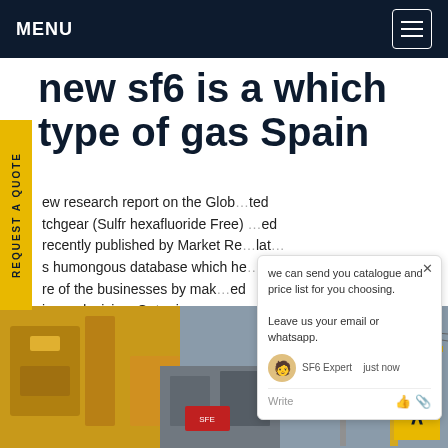MENU
new sf6 is a which type of gas Spain
new research report on the Global Switchgear (Sulfr hexafluoride Free) recently published by Market Re... its humongous database which he... ure of the businesses by mak... iness decisionsGet price
[Figure (screenshot): Chat popup overlay with message: we can send you catalogue and price list for you choosing. Leave us your email or whatsapp. SF6 Expert just now. Write input field.]
[Figure (photo): Photo of electrical switchgear equipment, yellow and industrial machinery on left, power transmission tower and cranes on right.]